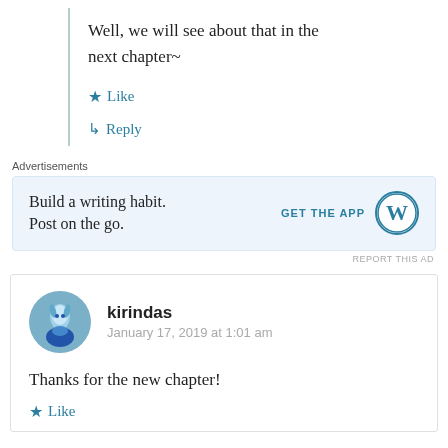Well, we will see about that in the next chapter~
★ Like
↳ Reply
Advertisements
[Figure (infographic): WordPress app advertisement: Build a writing habit. Post on the go. GET THE APP with WordPress logo]
REPORT THIS AD
kirindas
January 17, 2019 at 1:01 am
Thanks for the new chapter!
★ Like